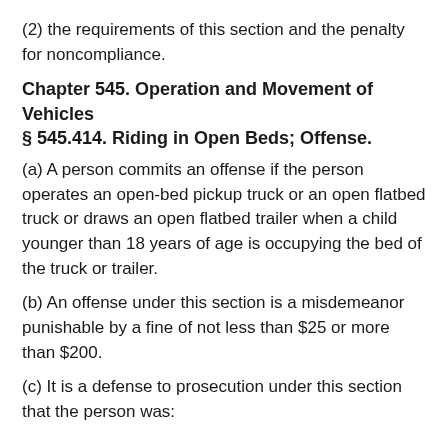(2) the requirements of this section and the penalty for noncompliance.
Chapter 545. Operation and Movement of Vehicles § 545.414. Riding in Open Beds; Offense.
(a) A person commits an offense if the person operates an open-bed pickup truck or an open flatbed truck or draws an open flatbed trailer when a child younger than 18 years of age is occupying the bed of the truck or trailer.
(b) An offense under this section is a misdemeanor punishable by a fine of not less than $25 or more than $200.
(c) It is a defense to prosecution under this section that the person was: